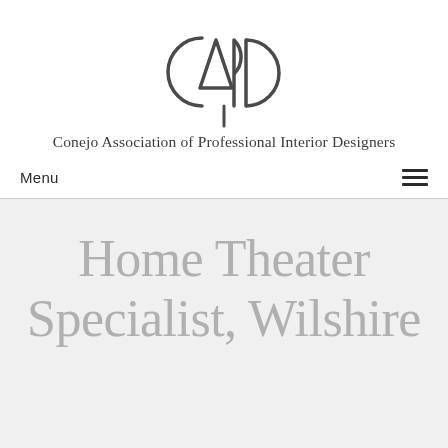[Figure (logo): CAPID logo — stylized letters C, A (or triangle), P, I, D arranged as overlapping geometric circular/arc shapes with a vertical line descending from center]
Conejo Association of Professional Interior Designers
Menu
Home Theater Specialist, Wilshire